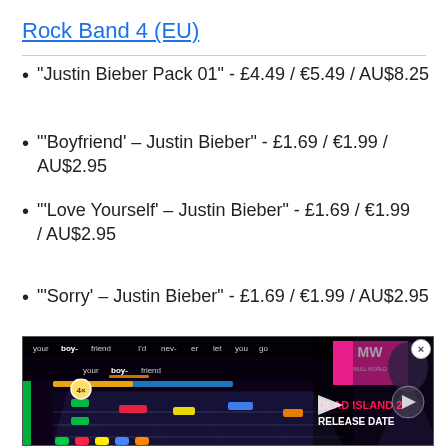Rock Band 4 (EU)
"Justin Bieber Pack 01" - £4.49 / €5.49 / AU$8.25
"'Boyfriend' – Justin Bieber" - £1.69 / €1.99 / AU$2.95
"'Love Yourself' – Justin Bieber" - £1.69 / €1.99 / AU$2.95
"'Sorry' – Justin Bieber" - £1.69 / €1.99 / AU$2.95
[Figure (screenshot): Video thumbnail showing Rock Band 4 gameplay with guitar highway, lyrics bar showing 'your boy- friend I'd nev- er let you go', and an overlay ad for Dead Island 2 Release Date with MW logo and a person's silhouette. A play button is visible in the center.]